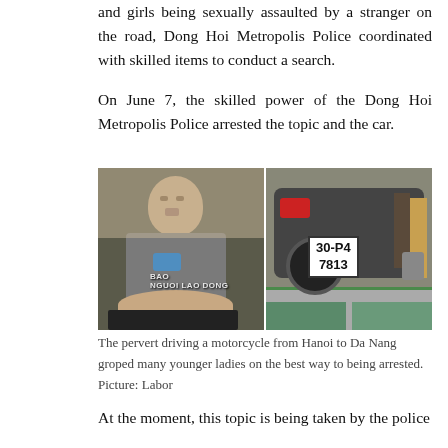and girls being sexually assaulted by a stranger on the road, Dong Hoi Metropolis Police coordinated with skilled items to conduct a search.
On June 7, the skilled power of the Dong Hoi Metropolis Police arrested the topic and the car.
[Figure (photo): Two photos side by side: left shows a bald man sitting on the ground wearing a grey shirt with a blue mask hanging around his neck; right shows a motorcycle with license plate 30-P4 7813 with people standing around it. Watermark reads BAO NGUOI LAO DONG.]
The pervert driving a motorcycle from Hanoi to Da Nang groped many younger ladies on the best way to being arrested. Picture: Labor
At the moment, this topic is being taken by the police